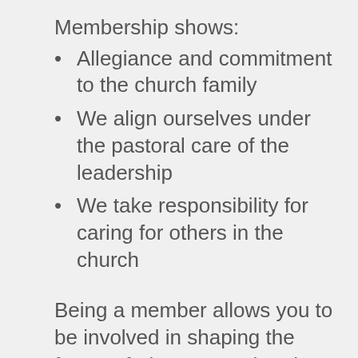Membership shows:
Allegiance and commitment to the church family
We align ourselves under the pastoral care of the leadership
We take responsibility for caring for others in the church
Being a member allows you to be involved in shaping the future of Above Bar Church. We are a congregational church and major decisions are brought to the church membership for their input and where appropriate are subject to a vote.